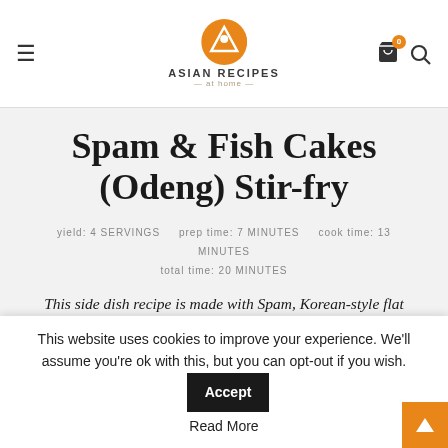ASIAN RECIPES at home
Spam & Fish Cakes (Odeng) Stir-fry
yield: 4 SERVINGS   prep time: 7 MINUTES   cook time: 13 MINUTES   total time: 20 MINUTES
This side dish recipe is made with Spam, Korean-style flat fish cakes, and onions. It is so incredibly easy to make and a delicious side to go with your meal.
★★★★★ (5 empty stars rating)
This website uses cookies to improve your experience. We'll assume you're ok with this, but you can opt-out if you wish.   Accept   Read More